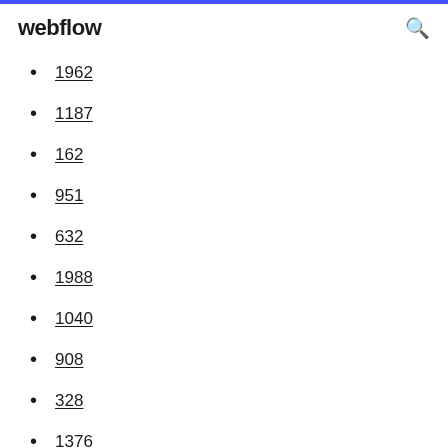webflow
1962
1187
162
951
632
1988
1040
908
328
1376
277
1787
1231